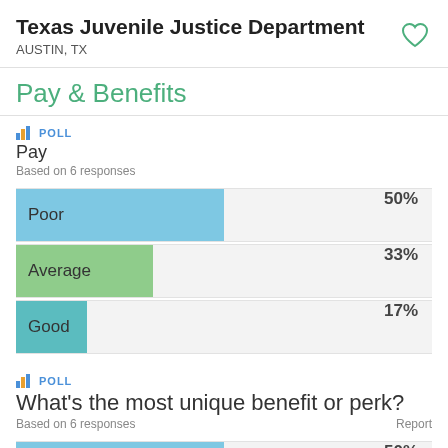Texas Juvenile Justice Department
AUSTIN, TX
Pay & Benefits
POLL
Pay
Based on 6 responses
[Figure (bar-chart): Pay]
POLL
What's the most unique benefit or perk?
Based on 6 responses
[Figure (bar-chart): What's the most unique benefit or perk?]